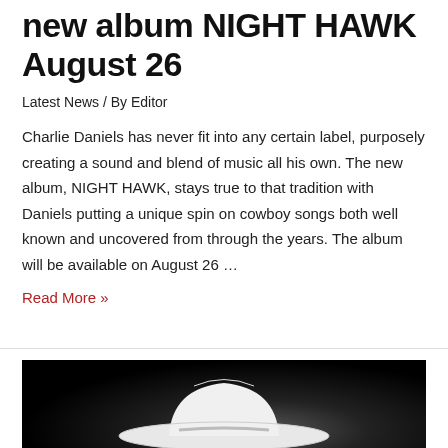new album NIGHT HAWK August 26
Latest News / By Editor
Charlie Daniels has never fit into any certain label, purposely creating a sound and blend of music all his own. The new album, NIGHT HAWK, stays true to that tradition with Daniels putting a unique spin on cowboy songs both well known and uncovered from through the years. The album will be available on August 26 …
Read More »
[Figure (photo): Dark background photo showing a white cowboy hat, cropped at the bottom of the page]